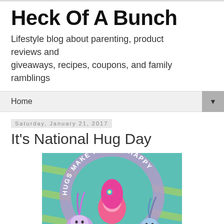Heck Of A Bunch
Lifestyle blog about parenting, product reviews and giveaways, recipes, coupons, and family ramblings
Home ▼
Saturday, January 21, 2017
It's National Hug Day
[Figure (photo): Trolls movie promotional image with characters Poppy and other trolls inside a circular wreath shape with text 'HUGS MAKE PEOPLE HAPPY' around the ring, on a teal/green background]